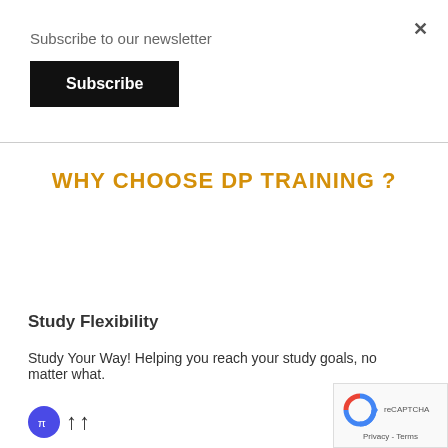Subscribe to our newsletter
Subscribe
WHY CHOOSE DP TRAINING ?
Study Flexibility
Study Your Way! Helping you reach your study goals, no matter what.
[Figure (logo): reCAPTCHA badge with logo and Privacy - Terms links]
[Figure (other): Bottom icons: blue circle icon and two upward arrows]